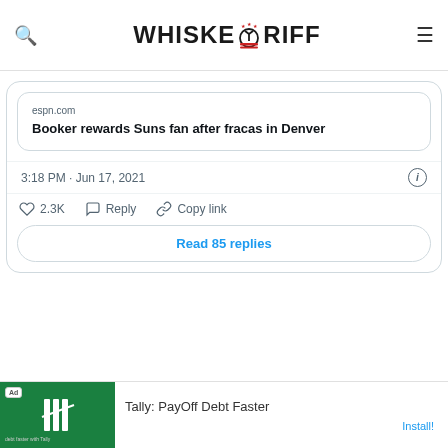WHISKEYRIFF
espn.com
Booker rewards Suns fan after fracas in Denver
3:18 PM · Jun 17, 2021
2.3K  Reply  Copy link
Read 85 replies
[Figure (screenshot): Advertisement banner for Tally: PayOff Debt Faster app with green background and 'Ad' label]